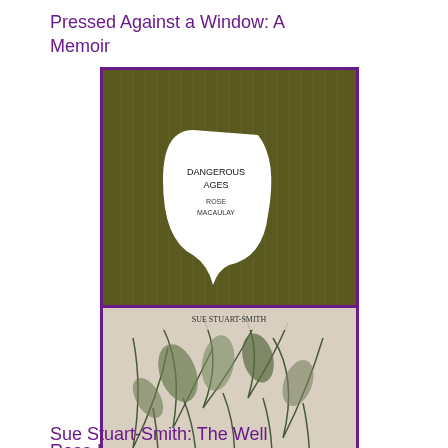Pressed Against a Window: A Memoir
[Figure (illustration): Book cover of 'Dangerous Ages' by Rose Macaulay — dark olive/green patterned background with a white silhouette of a head containing text]
Rose Macaulay: Dangerous Ages
[Figure (illustration): Book cover with botanical illustration — leaves and plants on a light background with text overlay, by Sue Stuart-Smith]
Sue Stuart-Smith: The Well